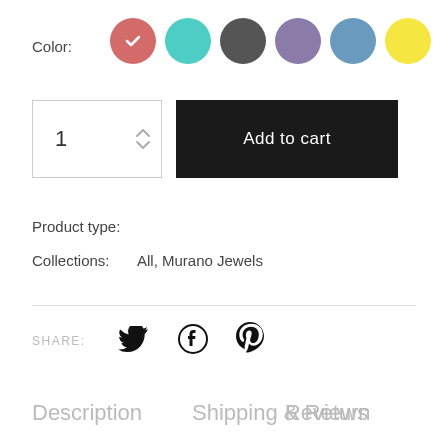Color:
[Figure (infographic): Six color swatches as circles: red/salmon (selected with checkmark), teal, dark gray, purple, blue, yellow]
[Figure (infographic): Quantity selector showing 1 with up/down arrows, and Add to cart black button]
Product type:
Collections:  All, Murano Jewels
SHARE:
[Figure (infographic): Social share icons: Twitter bird, Facebook circle, Pinterest P]
Description
Shipping & Return
Reviews